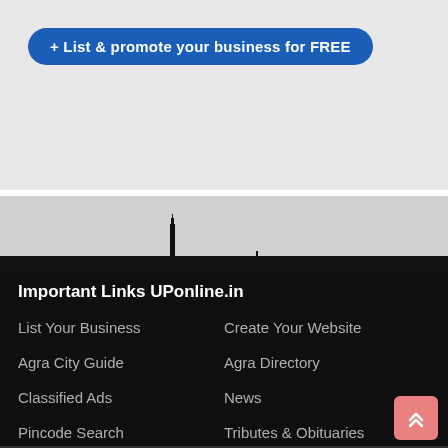+ List & promote your business for FREE
[Figure (illustration): City skyline silhouette in black against a gray background]
Important Links UPonline.in
List Your Business
Create Your Website
Agra City Guide
Agra Directory
Classified Ads
News
Pincode Search
Tributes & Obituaries
Post Classified Ads